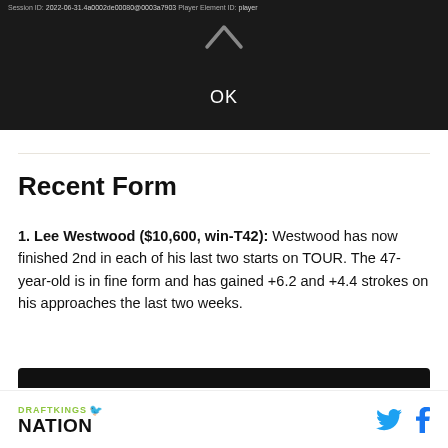[Figure (screenshot): Dark video player area showing session ID text at top and an OK button in center]
Recent Form
1. Lee Westwood ($10,600, win-T42): Westwood has now finished 2nd in each of his last two starts on TOUR. The 47-year-old is in fine form and has gained +6.2 and +4.4 strokes on his approaches the last two weeks.
DRAFTKINGS NATION